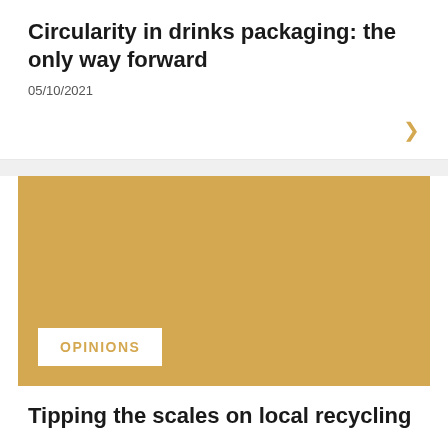Circularity in drinks packaging: the only way forward
05/10/2021
[Figure (illustration): Golden-yellow solid color background image representing an Opinions article card]
OPINIONS
Tipping the scales on local recycling